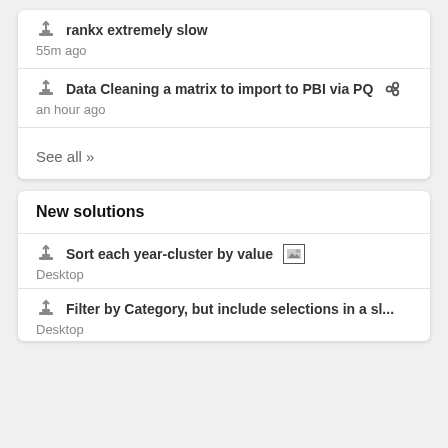rankx extremely slow
55m ago
Data Cleaning a matrix to import to PBI via PQ
an hour ago
See all >>
New solutions
Sort each year-cluster by value [image icon]
Desktop
Filter by Category, but include selections in a sl...
Desktop